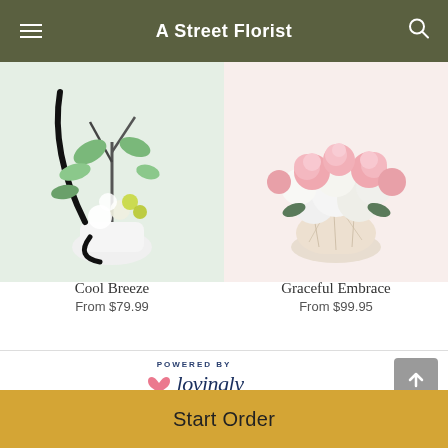A Street Florist
[Figure (photo): Cool Breeze floral arrangement with white flowers, green stems, and black accents in a white vase]
Cool Breeze
From $79.99
[Figure (photo): Graceful Embrace floral arrangement with pink roses and white flowers in a cream/beige crackle vase]
Graceful Embrace
From $99.95
[Figure (logo): POWERED BY lovingly logo with pink heart icon]
Start Order